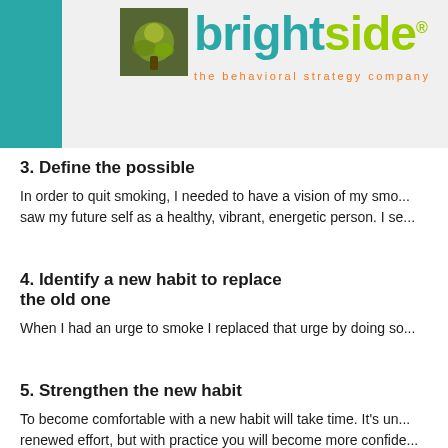[Figure (logo): Brightside logo with teal 'bright' and green 'side' text, small nature image, tagline 'the behavioral strategy company' in orange]
3. Define the possible
In order to quit smoking, I needed to have a vision of my smo... saw my future self as a healthy, vibrant, energetic person. I se...
4. Identify a new habit to replace the old one
When I had an urge to smoke I replaced that urge by doing so...
5. Strengthen the new habit
To become comfortable with a new habit will take time. It's un... renewed effort, but with practice you will become more confide...